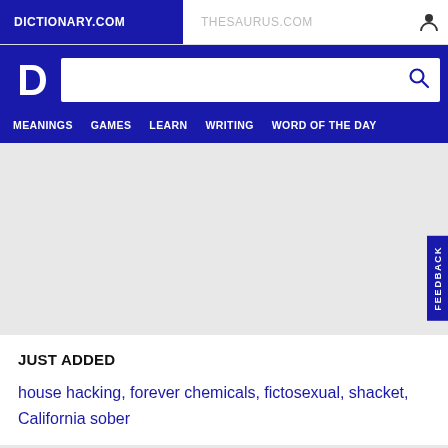DICTIONARY.COM | THESAURUS.COM
[Figure (screenshot): Dictionary.com logo - white D letter on blue background]
MEANINGS   GAMES   LEARN   WRITING   WORD OF THE DAY
JUST ADDED
house hacking, forever chemicals, fictosexual, shacket, California sober
FEEDBACK